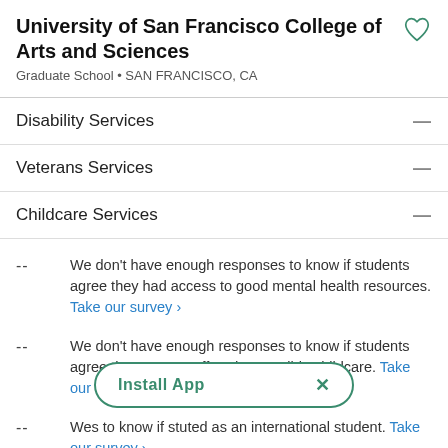University of San Francisco College of Arts and Sciences
Graduate School • SAN FRANCISCO, CA
Disability Services
Veterans Services
Childcare Services
-- We don't have enough responses to know if students agree they had access to good mental health resources. Take our survey >
-- We don't have enough responses to know if students agree the program offered accessible childcare. Take our survey >
-- We don't have enough responses to know if students agree they were supported as an international student. Take our survey >
[Figure (other): Install App popup banner with green border, showing 'Install App' text and an X close button]